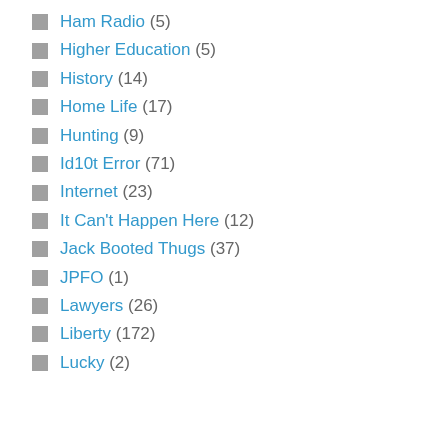Ham Radio (5)
Higher Education (5)
History (14)
Home Life (17)
Hunting (9)
Id10t Error (71)
Internet (23)
It Can't Happen Here (12)
Jack Booted Thugs (37)
JPFO (1)
Lawyers (26)
Liberty (172)
Lucky (2)